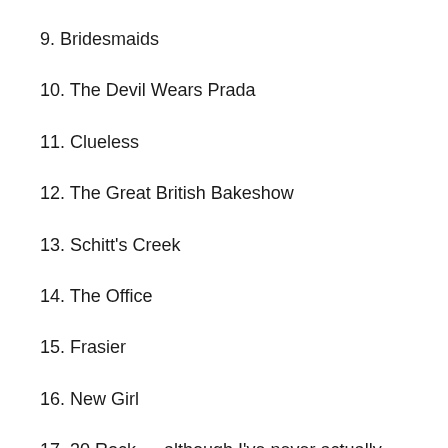9. Bridesmaids
10. The Devil Wears Prada
11. Clueless
12. The Great British Bakeshow
13. Schitt's Creek
14. The Office
15. Frasier
16. New Girl
17. 30 Rock … although I've never actually finished the whole